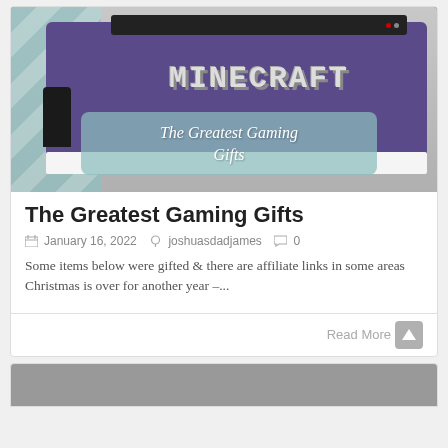[Figure (photo): Photo of a large curved monitor displaying the Minecraft logo on a purple background, with gaming console on the left and a white desk. An overlay text reads 'The Greatest Gaming Gifts'.]
The Greatest Gaming Gifts
January 16, 2022  joshuasdadjames  0
Some items below were gifted & there are affiliate links in some areas Christmas is over for another year –...
Read More